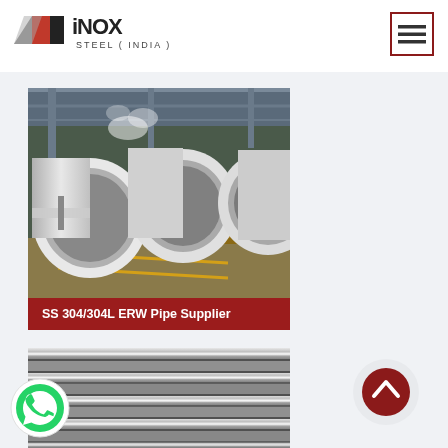[Figure (logo): iNOX Steel (India) logo with red and grey geometric shapes]
[Figure (illustration): Hamburger/menu icon button with dark red border]
[Figure (photo): Large stainless steel ERW pipes stacked in an industrial warehouse]
SS 304/304L ERW Pipe Supplier
[Figure (photo): Close-up of multiple shiny stainless steel tubes/rods viewed from the side]
[Figure (illustration): Green WhatsApp chat button icon]
[Figure (illustration): Dark red circular back-to-top arrow button]